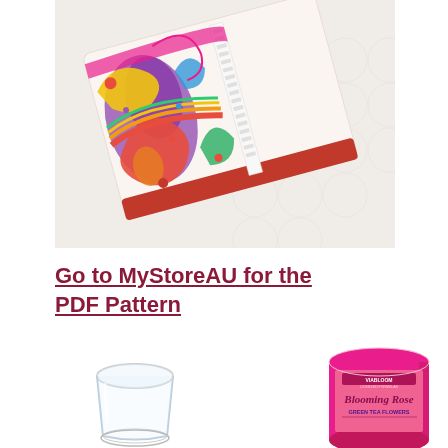[Figure (photo): A colorful paisley-patterned fabric clutch or wallet with a zipper, photographed on a white embossed surface. The fabric features vibrant reds, pinks, purples, greens, yellows, and blues in a floral/paisley design.]
Go to MyStoreAU for the PDF Pattern
[Figure (photo): A clear glass container or measuring cup photographed against a white background.]
[Figure (photo): A pink cylindrical tin labeled 'Viabloom' with text 'Blooming Rose GREEN TEA FLOWERS' on a white background.]